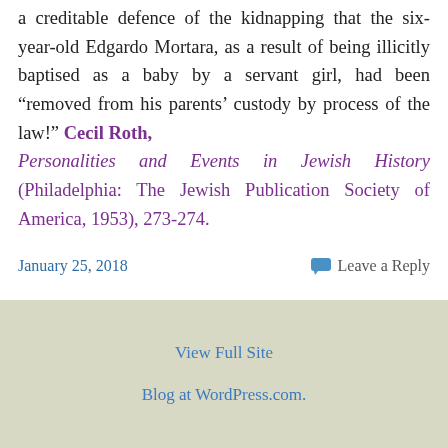a creditable defence of the kidnapping that the six-year-old Edgardo Mortara, as a result of being illicitly baptised as a baby by a servant girl, had been "removed from his parents' custody by process of the law!" Cecil Roth, Personalities and Events in Jewish History (Philadelphia: The Jewish Publication Society of America, 1953), 273-274.
January 25, 2018
Leave a Reply
View Full Site
Blog at WordPress.com.